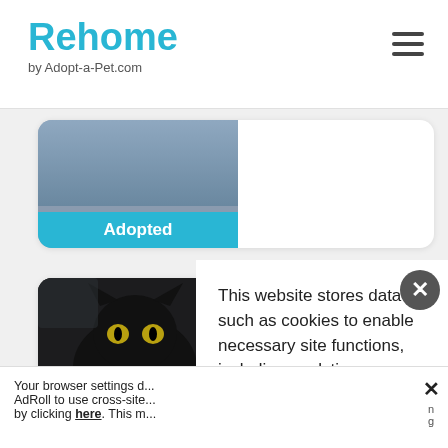Rehome by Adopt-a-Pet.com
[Figure (photo): Partial card showing an adopted pet with blue Adopted badge]
[Figure (photo): Black cat named Viking with blue Adopted badge overlay]
Viking
Male, Adult
[Figure (photo): Partial third pet listing card at bottom]
This website stores data such as cookies to enable necessary site functions, including analytics, targeting and personalization. By remaining on this website you indicate your consent.
Cookie Policy
Your browser settings d... AdRoll to use cross-site... by clicking here. This m...